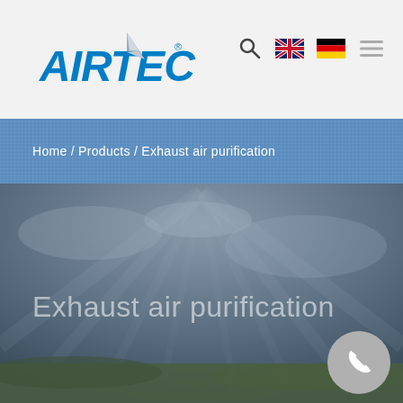[Figure (logo): AIRTEC company logo in blue italic letters with a stylized arrow/triangle graphic element]
[Figure (infographic): Navigation bar with search icon, UK flag icon, German flag icon, and hamburger menu icon]
Home / Products / Exhaust air purification
[Figure (photo): Hero background photo of an overcast sky with rays of light and green fields at the bottom]
Exhaust air purification